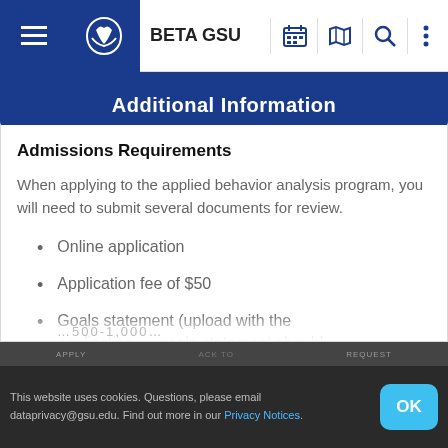BETA GSU
Additional Information
Admissions Requirements
When applying to the applied behavior analysis program, you will need to submit several documents for review.
Online application
Application fee of $50
Goals statement (upload with the application — goals statement should
This website uses cookies. Questions, please email dataprivacy@gsu.edu. Find out more in our Privacy Notices.